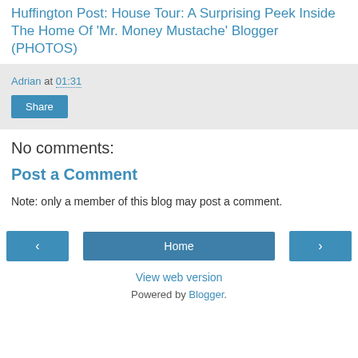Huffington Post: House Tour: A Surprising Peek Inside The Home Of 'Mr. Money Mustache' Blogger (PHOTOS)
Adrian at 01:31
Share
No comments:
Post a Comment
Note: only a member of this blog may post a comment.
‹  Home  ›
View web version
Powered by Blogger.